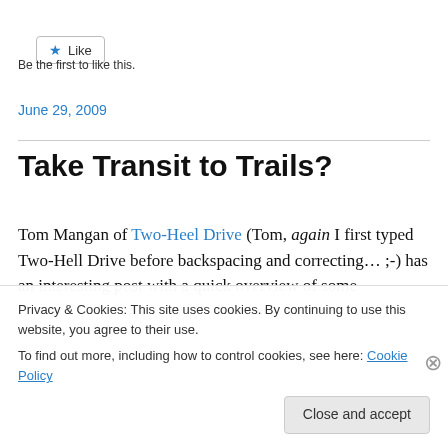[Figure (other): Like button with star icon]
Be the first to like this.
June 29, 2009
Take Transit to Trails?
Tom Mangan of Two-Heel Drive (Tom, again I first typed Two-Hell Drive before backspacing and correcting… ;-) has an interesting post with a quick overview of some
Privacy & Cookies: This site uses cookies. By continuing to use this website, you agree to their use.
To find out more, including how to control cookies, see here: Cookie Policy
Close and accept